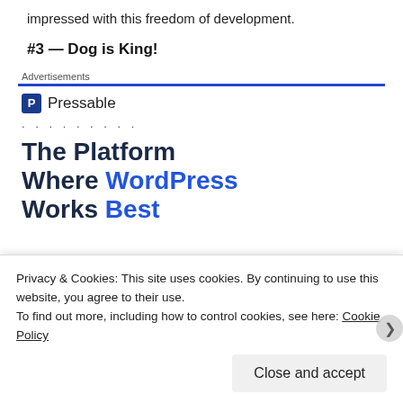impressed with this freedom of development.
#3 — Dog is King!
[Figure (other): Pressable advertisement banner with logo, dots, and headline 'The Platform Where WordPress Works Best' with a 'SEE PRICING' button]
Privacy & Cookies: This site uses cookies. By continuing to use this website, you agree to their use.
To find out more, including how to control cookies, see here: Cookie Policy
Close and accept